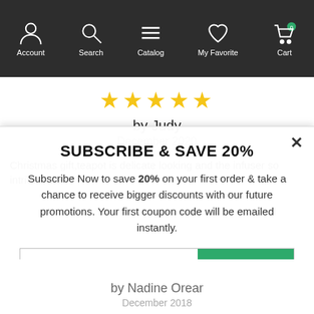Account  Search  Catalog  My Favorite  Cart
[Figure (screenshot): 5-star rating row (4 filled stars shown), by Judy, December 2020, partial review text: Christmas gift,teapot is delicate looking and the infuser so intricate the...]
SUBSCRIBE & SAVE 20%
Subscribe Now to save 20% on your first order & take a chance to receive bigger discounts with our future promotions. Your first coupon code will be emailed instantly.
Enter e-mail address  SUBSCRIBE
by Nadine Orear
December 2018